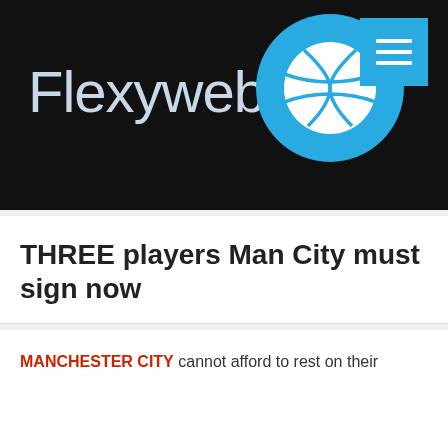[Figure (logo): Flexyweb logo with white/light blue text on black background, accompanied by a blue circle containing a basketball icon, and a blue square menu button with three horizontal white lines in the top right]
THREE players Man City must sign now
MANCHESTER CITY cannot afford to rest on their